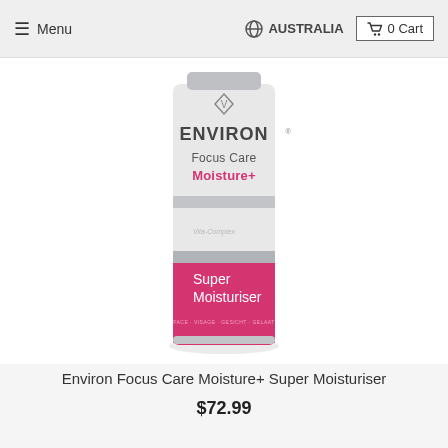Menu | AUSTRALIA | 0 Cart
[Figure (photo): Environ Focus Care Moisture+ Super Moisturiser product bottle. White/grey cylindrical bottle with silver cap, featuring ENVIRON branding, 'Focus Care Moisture+' text and a pink/magenta lower section labeled 'Vita-Complex Super Moisturiser'.]
Environ Focus Care Moisture+ Super Moisturiser
$72.99